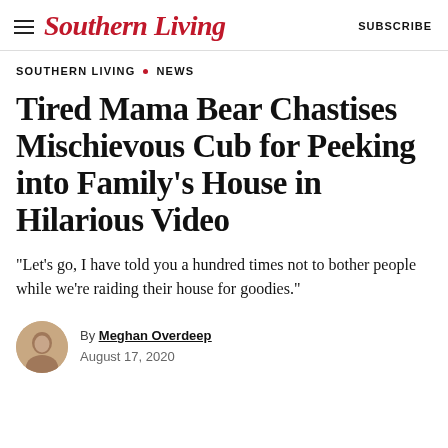Southern Living   SUBSCRIBE
SOUTHERN LIVING • NEWS
Tired Mama Bear Chastises Mischievous Cub for Peeking into Family's House in Hilarious Video
"Let's go, I have told you a hundred times not to bother people while we're raiding their house for goodies."
By Meghan Overdeep
August 17, 2020